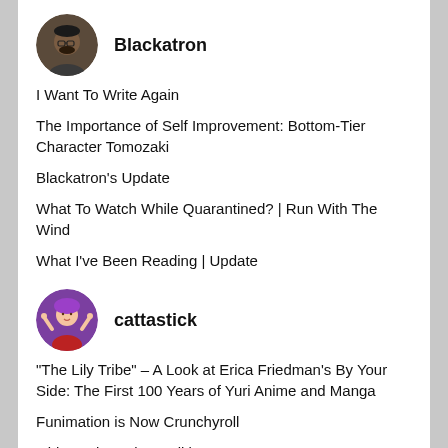[Figure (photo): Circular avatar photo of a man with glasses, dark skin, beard]
Blackatron
I Want To Write Again
The Importance of Self Improvement: Bottom-Tier Character Tomozaki
Blackatron’s Update
What To Watch While Quarantined? | Run With The Wind
What I’ve Been Reading | Update
[Figure (photo): Circular avatar photo of an anime-style character with purple hair in a martial arts pose]
cattastick
“The Lily Tribe” – A Look at Erica Friedman’s By Your Side: The First 100 Years of Yuri Anime and Manga
Funimation is Now Crunchyroll
Girl Gaming: Xbox Edition
November Stack for a Cause – #stacktostophunger